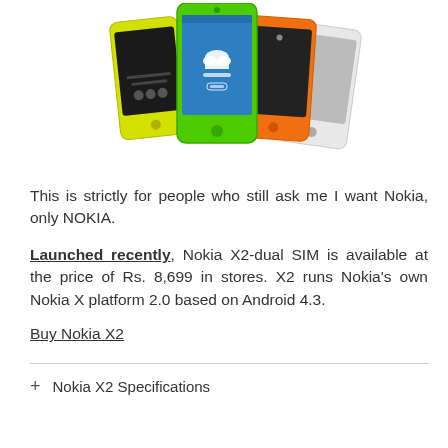[Figure (photo): Four Nokia X2 smartphones displayed together — yellow, green (front, showing OneDrive screen), orange, and white variants arranged in a group.]
This is strictly for people who still ask me I want Nokia, only NOKIA.
Launched recently, Nokia X2-dual SIM is available at the price of Rs. 8,699 in stores. X2 runs Nokia's own Nokia X platform 2.0 based on Android 4.3.
Buy Nokia X2
+ Nokia X2 Specifications